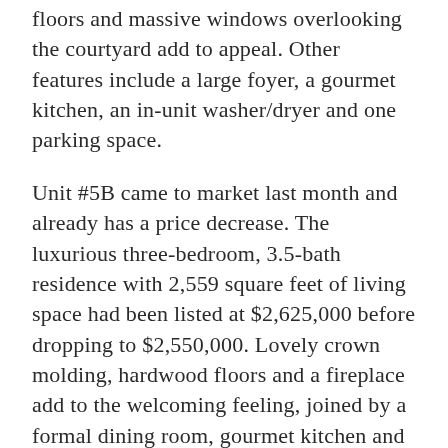floors and massive windows overlooking the courtyard add to appeal. Other features include a large foyer, a gourmet kitchen, an in-unit washer/dryer and one parking space.
Unit #5B came to market last month and already has a price decrease. The luxurious three-bedroom, 3.5-bath residence with 2,559 square feet of living space had been listed at $2,625,000 before dropping to $2,550,000. Lovely crown molding, hardwood floors and a fireplace add to the welcoming feeling, joined by a formal dining room, gourmet kitchen and spacious terrace.
Now pending, Unit #PH2E is a prime